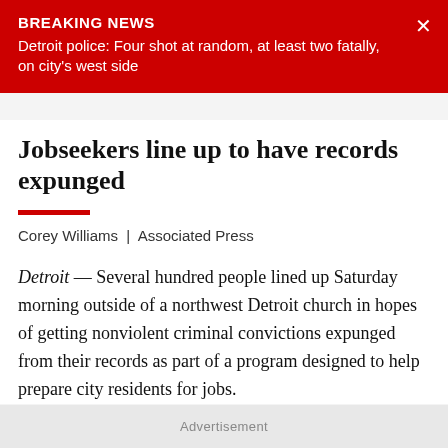BREAKING NEWS
Detroit police: Four shot at random, at least two fatally, on city's west side
Jobseekers line up to have records expunged
Corey Williams | Associated Press
Detroit — Several hundred people lined up Saturday morning outside of a northwest Detroit church in hopes of getting nonviolent criminal convictions expunged from their records as part of a program designed to help prepare city residents for jobs.
Advertisement